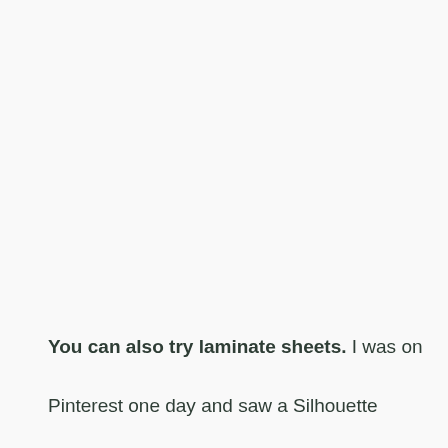You can also try laminate sheets.  I was on Pinterest one day and saw a Silhouette